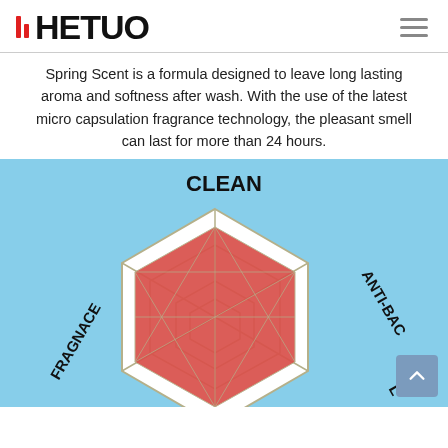[Figure (logo): HETUO brand logo with two red vertical bars of different heights followed by bold black text HETUO]
Spring Scent is a formula designed to leave long lasting aroma and softness after wash. With the use of the latest micro capsulation fragrance technology, the pleasant smell can last for more than 24 hours.
[Figure (radar-chart): Hexagonal radar chart on light blue background showing product attributes: CLEAN (top), ANTI-BAC (upper right), partially visible labels at bottom right, FRAGNACE (left). Chart has red filled area inside a white-bordered hexagonal outline with olive/dark yellow grid lines.]